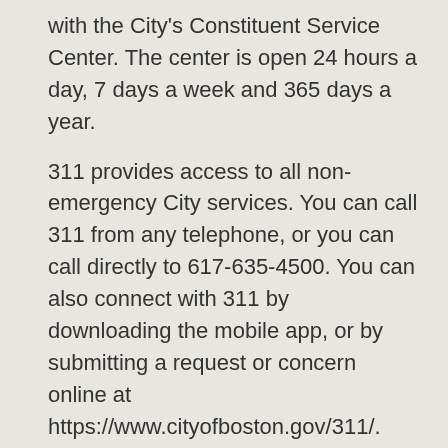with the City's Constituent Service Center. The center is open 24 hours a day, 7 days a week and 365 days a year.
311 provides access to all non-emergency City services. You can call 311 from any telephone, or you can call directly to 617-635-4500. You can also connect with 311 by downloading the mobile app, or by submitting a request or concern online at https://www.cityofboston.gov/311/. The mobile app allows you to easily send a photo of the problem you are reporting. You can even Tweet @BOS311.
There are hundreds of topics that can be addressed by the 311 center, and these can be found on the 311 website. Some of the issues you can report to 311 include potholes, sidewalk problems, streets or sidewalks that need to be cleaned, how to get rid of a